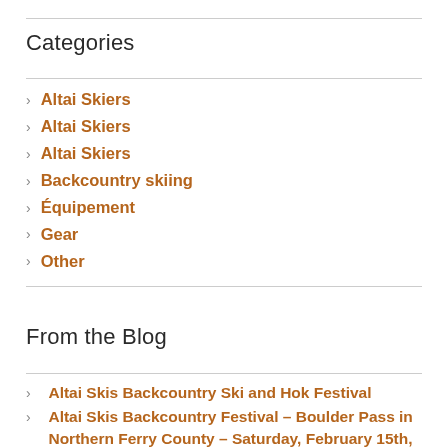Categories
Altai Skiers
Altai Skiers
Altai Skiers
Backcountry skiing
Équipement
Gear
Other
From the Blog
Altai Skis Backcountry Ski and Hok Festival
Altai Skis Backcountry Festival – Boulder Pass in Northern Ferry County – Saturday, February 15th,